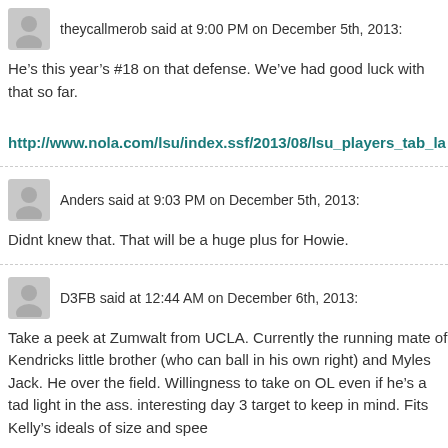theycallmerob said at 9:00 PM on December 5th, 2013:
He’s this year’s #18 on that defense. We’ve had good luck with that so far.
http://www.nola.com/lsu/index.ssf/2013/08/lsu_players_tab_la
Anders said at 9:03 PM on December 5th, 2013:
Didnt knew that. That will be a huge plus for Howie.
D3FB said at 12:44 AM on December 6th, 2013:
Take a peek at Zumwalt from UCLA. Currently the running mate of Kendricks little brother (who can ball in his own right) and Myles Jack. He over the field. Willingness to take on OL even if he’s a tad light in the ass. interesting day 3 target to keep in mind. Fits Kelly’s ideals of size and spee